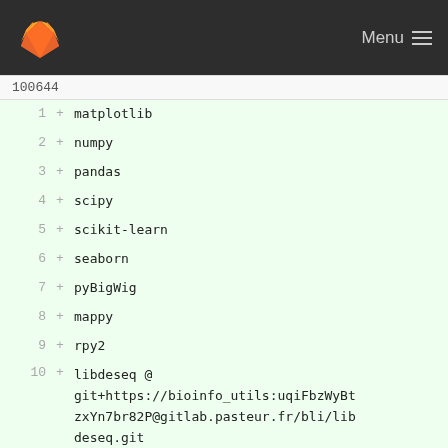Menu
100644
1  + matplotlib
2  + numpy
3  + pandas
4  + scipy
5  + scikit-learn
6  + seaborn
7  + pyBigWig
8  + mappy
9  + rpy2
10 + libdeseq @ git+https://bioinfo_utils:uqiFbzWyBtzxYn7br82P@gitlab.pasteur.fr/bli/libdeseq.git
11 + libhts @ git+https://bioinfo_utils:DP-sqNot8AdsMek_KJiC@gitlab.pasteur.fr/bli/libhts.git
12 + libworkflows @ git+https://bioinfo_utils:tfuTQsSZWM